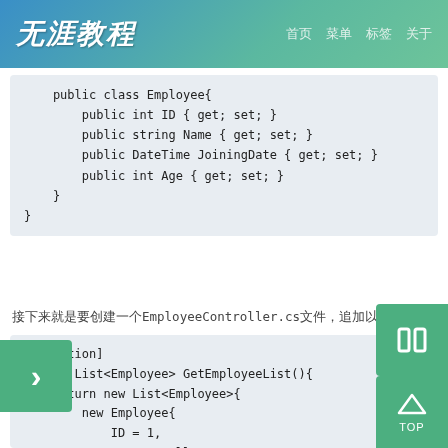无涯教程 | 首页 | 菜单 | 标签 | 关于
[Figure (screenshot): Code block showing C# Employee class with properties ID, Name, JoiningDate, Age]
接下来就是要创建一个EmployeeController.cs文件，追加以下代码
[Figure (screenshot): Code block showing C# GetEmployeeList method with NonAction attribute and Employee list with ID=1, Name=Allan, JoiningDate=DateTime.Parse, Age=23]